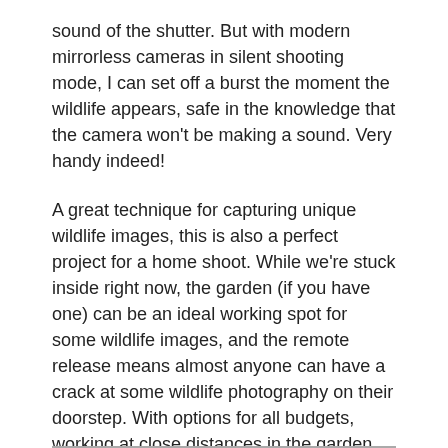sound of the shutter. But with modern mirrorless cameras in silent shooting mode, I can set off a burst the moment the wildlife appears, safe in the knowledge that the camera won't be making a sound. Very handy indeed!
A great technique for capturing unique wildlife images, this is also a perfect project for a home shoot. While we're stuck inside right now, the garden (if you have one) can be an ideal working spot for some wildlife images, and the remote release means almost anyone can have a crack at some wildlife photography on their doorstep. With options for all budgets, working at close distances in the garden you can have so much fun exploring wide-angle wildlife photography, and all from the warmth of inside the house, cuppa in hand. Perfect for those winter days!
A few top tips